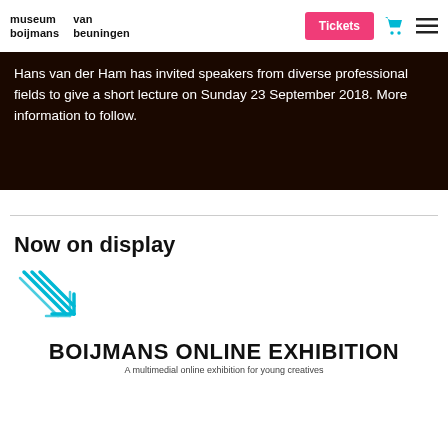museum boijmans van beuningen | Tickets
Hans van der Ham has invited speakers from diverse professional fields to give a short lecture on Sunday 23 September 2018. More information to follow.
Now on display
[Figure (illustration): Cyan diagonal arrow icon pointing down-right, made of multiple parallel lines]
[Figure (screenshot): Boijmans Online Exhibition banner with title 'BOIJMANS ONLINE EXHIBITION', subtitle 'A multimedial online exhibition for young creatives', and a strip of black-and-white photos with mirrored 'REFLEXIONS' text]